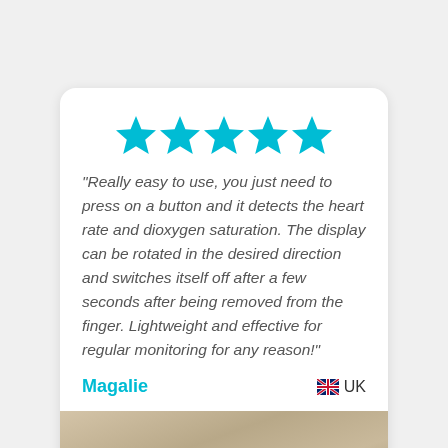[Figure (other): Five teal/cyan star rating icons in a row]
"Really easy to use, you just need to press on a button and it detects the heart rate and dioxygen saturation. The display can be rotated in the desired direction and switches itself off after a few seconds after being removed from the finger. Lightweight and effective for regular monitoring for any reason!"
Magalie
🇬🇧 UK
[Figure (photo): Partial photo with beige/tan wooden or textured surface background]